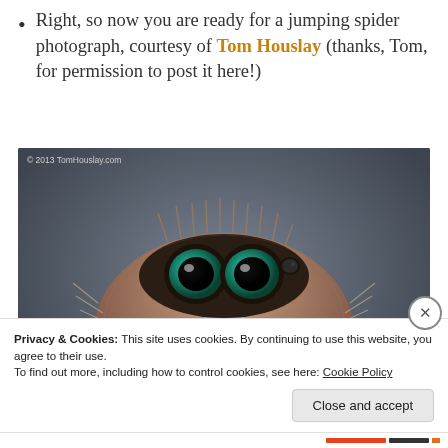Right, so now you are ready for a jumping spider photograph, courtesy of Tom Houslay (thanks, Tom, for permission to post it here!)
[Figure (photo): Close-up macro photograph of a jumping spider (Phidippus regius or similar) facing the camera, showing four large forward-facing eyes (two large green iridescent primary eyes in center, two smaller eyes to side), fuzzy brown and beige body covered with setae (hairs), and prominent purple/violet iridescent chelicerae (fangs) in foreground. Background is dark blue-grey gradient. Copyright watermark reads '© 2013 TomHouslay.com' in top left.]
Privacy & Cookies: This site uses cookies. By continuing to use this website, you agree to their use.
To find out more, including how to control cookies, see here: Cookie Policy